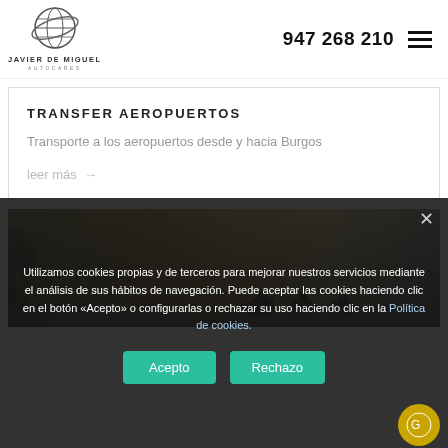947 268 210
[Figure (logo): Javier de Miguel Autocares logo with globe icon]
TRANSFER AEROPUERTOS
Transporte a los aeropuertos desde y hacia Burgos
leer más →
[Figure (photo): Cyclists riding in a race with warm sunset lighting in the background]
Utilizamos cookies propias y de terceros para mejorar nuestros servicios mediante el análisis de sus hábitos de navegación. Puede aceptar las cookies haciendo clic en el botón «Acepto» o configurarlas o rechazar su uso haciendo clic en la Política de cookies.